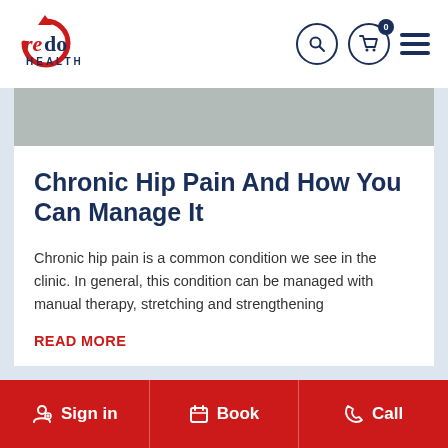Redo Health — navigation header with logo, search, cart (0), and menu
Chronic Hip Pain And How You Can Manage It
Chronic hip pain is a common condition we see in the clinic. In general, this condition can be managed with manual therapy, stretching and strengthening
READ MORE
Sign in | Book | Call